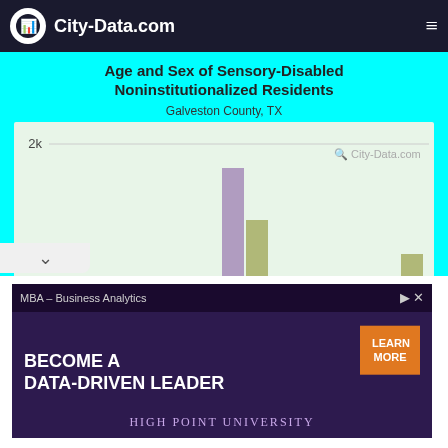City-Data.com
Age and Sex of Sensory-Disabled Noninstitutionalized Residents
Galveston County, TX
[Figure (grouped-bar-chart): Age and Sex of Sensory-Disabled Noninstitutionalized Residents]
[Figure (screenshot): MBA Business Analytics advertisement for High Point University with Learn More button]